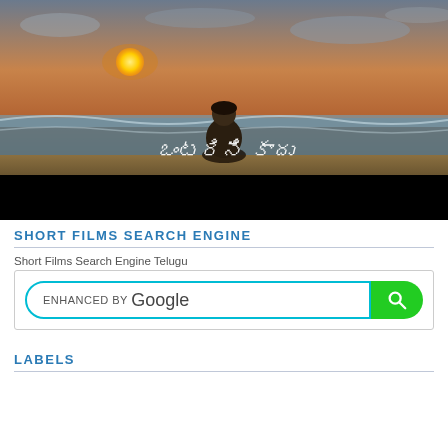[Figure (photo): A person sitting on a beach facing the ocean during sunset, with Telugu text 'ఒంటరిని కాదు' overlaid on the image. The bottom portion of the image is black.]
SHORT FILMS SEARCH ENGINE
Short Films Search Engine Telugu
[Figure (screenshot): A Google search widget with a cyan-bordered rounded search input field showing 'ENHANCED BY Google' text, and a green rounded search button with a magnifying glass icon.]
LABELS